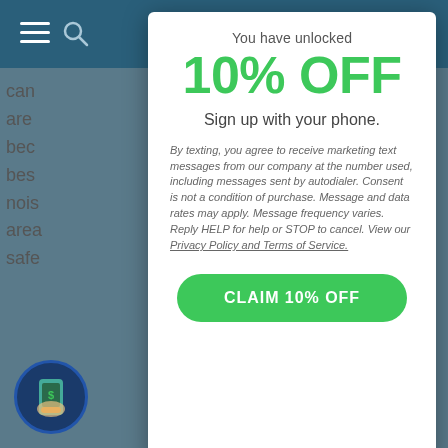[Figure (screenshot): Background website with teal header bar showing hamburger menu, search, user, and cart icons. Gray background with partially visible body text on left and right edges.]
You have unlocked
10% OFF
Sign up with your phone.
By texting, you agree to receive marketing text messages from our company at the number used, including messages sent by autodialer. Consent is not a condition of purchase. Message and data rates may apply. Message frequency varies. Reply HELP for help or STOP to cancel. View our Privacy Policy and Terms of Service.
CLAIM 10% OFF